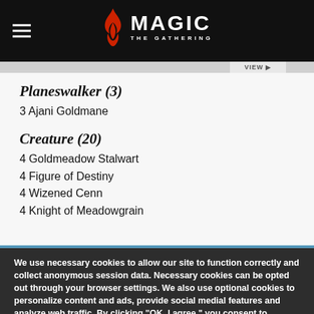Magic: The Gathering
Planeswalker (3)
3 Ajani Goldmane
Creature (20)
4 Goldmeadow Stalwart
4 Figure of Destiny
4 Wizened Cenn
4 Knight of Meadowgrain
We use necessary cookies to allow our site to function correctly and collect anonymous session data. Necessary cookies can be opted out through your browser settings. We also use optional cookies to personalize content and ads, provide social medial features and analyze web traffic. By clicking “OK, I agree,” you consent to optional cookies.
(Learn more about cookies.)
OK, I agree    No, thanks